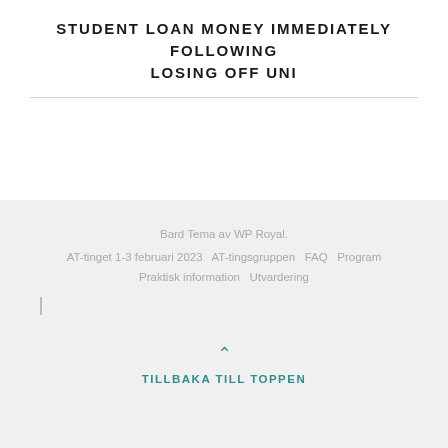STUDENT LOAN MONEY IMMEDIATELY FOLLOWING LOSING OFF UNI
Bard Tema av WP Royal.
AT-tinget 1-3 februari 2023  AT-tingsgruppen  FAQ  Program
Praktisk information  Utvardering
TILLBAKA TILL TOPPEN